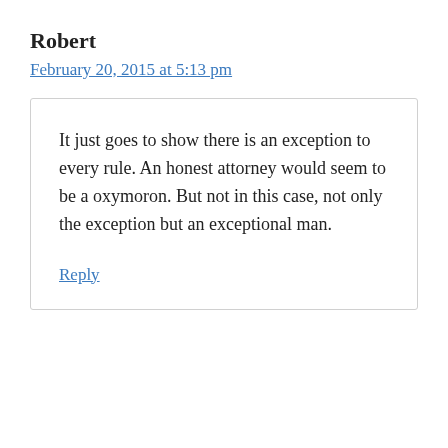Robert
February 20, 2015 at 5:13 pm
It just goes to show there is an exception to every rule. An honest attorney would seem to be a oxymoron. But not in this case, not only the exception but an exceptional man.
Reply